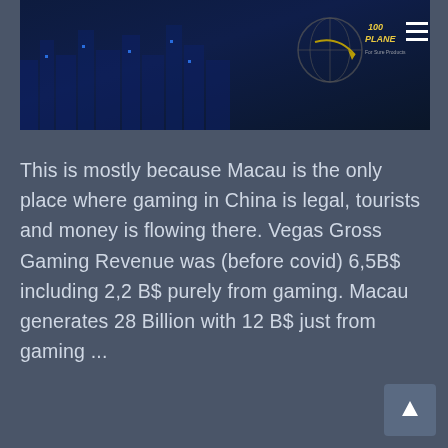[Figure (photo): Dark blue cityscape/digital city background image with a globe logo and navigation hamburger menu icon in the top right corner. Text on logo reads 'PLANE'.]
This is mostly because Macau is the only place where gaming in China is legal, tourists and money is flowing there. Vegas Gross Gaming Revenue was (before covid) 6,5B$ including 2,2 B$ purely from gaming. Macau generates 28 Billion with 12 B$ just from gaming ...